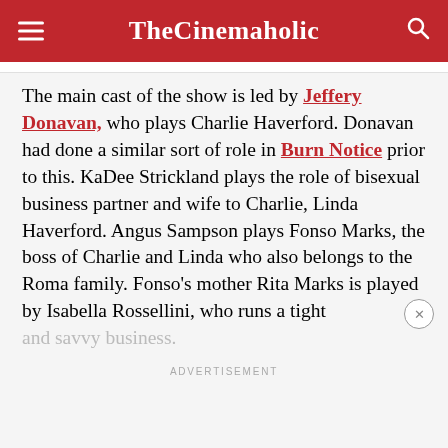TheCinemaholic
The main cast of the show is led by Jeffery Donavan, who plays Charlie Haverford. Donavan had done a similar sort of role in Burn Notice prior to this. KaDee Strickland plays the role of bisexual business partner and wife to Charlie, Linda Haverford. Angus Sampson plays Fonso Marks, the boss of Charlie and Linda who also belongs to the Roma family. Fonso’s mother Rita Marks is played by Isabella Rossellini, who runs a tight and savvy business.
ADVERTISEMENT